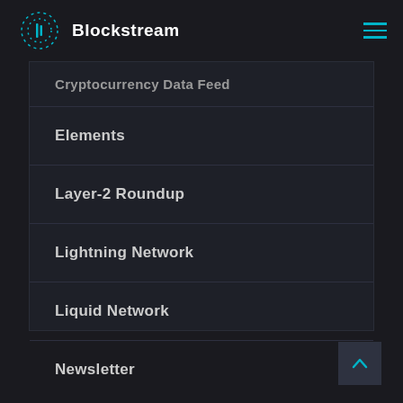Blockstream
Cryptocurrency Data Feed
Elements
Layer-2 Roundup
Lightning Network
Liquid Network
Newsletter